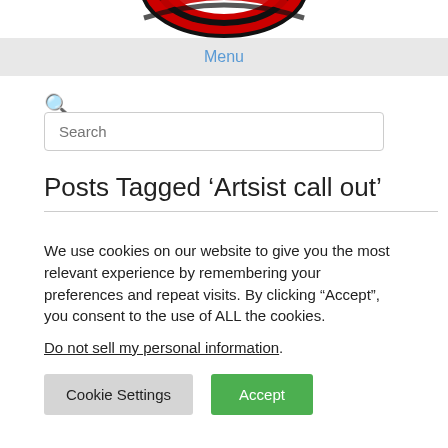[Figure (logo): Partial logo at top of page, red and black circular emblem, cropped]
Menu
Search
Posts Tagged 'Artsist call out'
We use cookies on our website to give you the most relevant experience by remembering your preferences and repeat visits. By clicking "Accept", you consent to the use of ALL the cookies.
Do not sell my personal information.
Cookie Settings | Accept